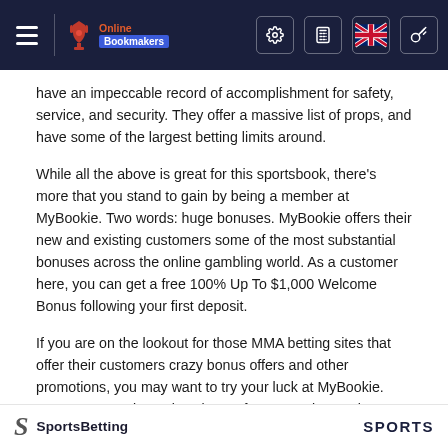Online Bookmakers navigation header with hamburger menu, logo, settings, calculator, UK flag, and key icons
have an impeccable record of accomplishment for safety, service, and security. They offer a massive list of props, and have some of the largest betting limits around.
While all the above is great for this sportsbook, there's more that you stand to gain by being a member at MyBookie. Two words: huge bonuses. MyBookie offers their new and existing customers some of the most substantial bonuses across the online gambling world. As a customer here, you can get a free 100% Up To $1,000 Welcome Bonus following your first deposit.
If you are on the lookout for those MMA betting sites that offer their customers crazy bonus offers and other promotions, you may want to try your luck at MyBookie. Here, you stand to enjoy plenty of MMA markets, take part in in-play betting, and wager at highly competitive odds for better value. This bookmaker has plenty of bet types and one of the largest in the world when it comes to the available betting options.
SportsBetting ... SPORTS